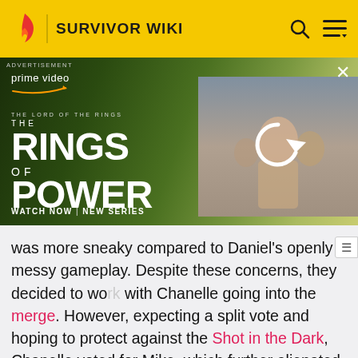SURVIVOR WIKI
[Figure (screenshot): Amazon Prime Video advertisement for The Lord of the Rings: The Rings of Power. Shows 'WATCH NOW | NEW SERIES' with two panels: a cinematic scene with actors, and a thumbnail with a refresh icon.]
was more sneaky compared to Daniel's openly messy gameplay. Despite these concerns, they decided to work with Chanelle going into the merge. However, expecting a split vote and hoping to protect against the Shot in the Dark, Chanelle voted for Mike, which further alienated her from her tribemates.
When the tribes merged, Chanelle was one of the four players excluded from the majority alliance. Chanelle's